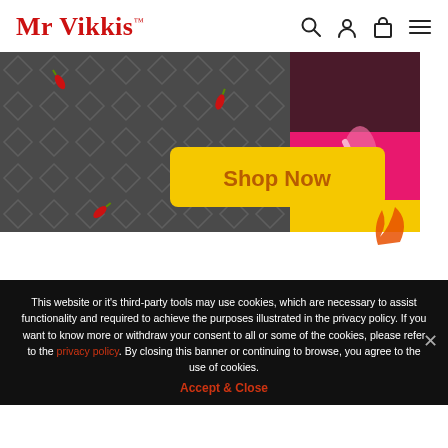Mr Vikkis™
[Figure (illustration): Promotional banner image showing illustrated jars/products on a dark diamond-pattern background with a yellow 'Shop Now' button on the left and a pink/yellow illustrated jar on the right]
This website or it's third-party tools may use cookies, which are necessary to assist functionality and required to achieve the purposes illustrated in the privacy policy. If you want to know more or withdraw your consent to all or some of the cookies, please refer to the privacy policy. By closing this banner or continuing to browse, you agree to the use of cookies.
Accept & Close